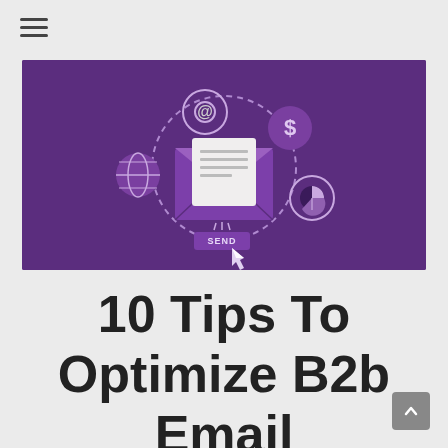[Figure (illustration): Email marketing illustration on purple background: an open envelope with a document inside, surrounded by icons (@ symbol, dollar sign, globe, pie chart) connected by a dashed circular line, with a SEND button and cursor arrow below]
10 Tips To Optimize B2b Email